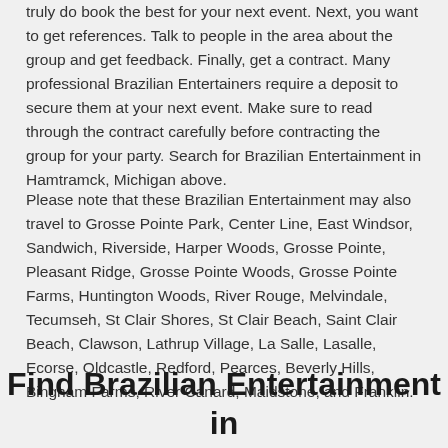truly do book the best for your next event. Next, you want to get references. Talk to people in the area about the group and get feedback. Finally, get a contract. Many professional Brazilian Entertainers require a deposit to secure them at your next event. Make sure to read through the contract carefully before contracting the group for your party. Search for Brazilian Entertainment in Hamtramck, Michigan above.
Please note that these Brazilian Entertainment may also travel to Grosse Pointe Park, Center Line, East Windsor, Sandwich, Riverside, Harper Woods, Grosse Pointe, Pleasant Ridge, Grosse Pointe Woods, Grosse Pointe Farms, Huntington Woods, River Rouge, Melvindale, Tecumseh, St Clair Shores, St Clair Beach, Saint Clair Beach, Clawson, Lathrup Village, La Salle, Lasalle, Ecorse, Oldcastle, Redford, Pearces, Beverly Hills, Bingham Farms, River Canard, Maidstone, and Franklin.
Find Brazilian Entertainment in